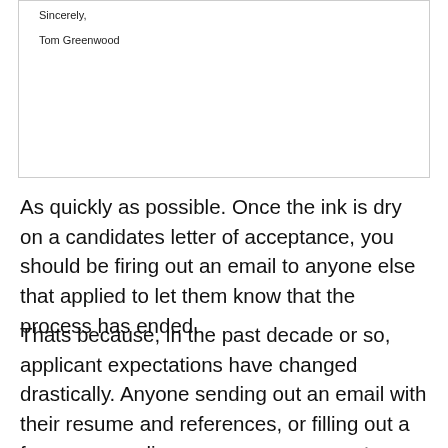[Figure (other): Bottom portion of a letter showing closing 'Sincerely,' and signature 'Tom Greenwood']
As quickly as possible. Once the ink is dry on a candidates letter of acceptance, you should be firing out an email to anyone else that applied to let them know that the process has ended.
Thats because, in the past decade or so, applicant expectations have changed drastically. Anyone sending out an email with their resume and references, or filling out a form on an online career page, expects a quick